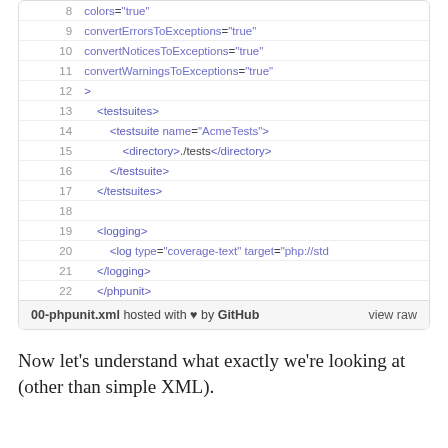[Figure (screenshot): Code block showing XML configuration lines 8-22 for phpunit, followed by a file footer indicating '00-phpunit.xml hosted with heart by GitHub' and a 'view raw' link.]
Now let's understand what exactly we're looking at (other than simple XML).